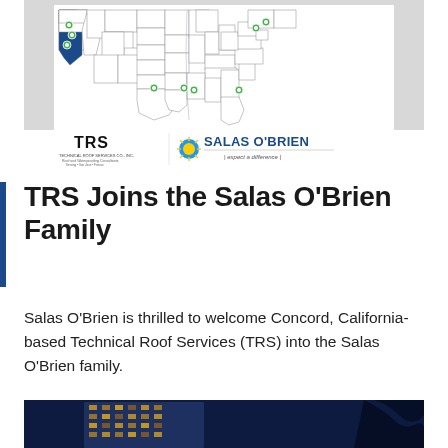[Figure (map): Map of the United States showing TRS and Salas O'Brien office locations marked with green pins, with California highlighted in blue. TRS and Salas O'Brien logos appear at the bottom of the map.]
TRS Joins the Salas O'Brien Family
Salas O'Brien is thrilled to welcome Concord, California-based Technical Roof Services (TRS) into the Salas O'Brien family.
[Figure (photo): Night-time photograph of a tall illuminated office building against a dark blue sky, with dark tree silhouette visible at right edge.]